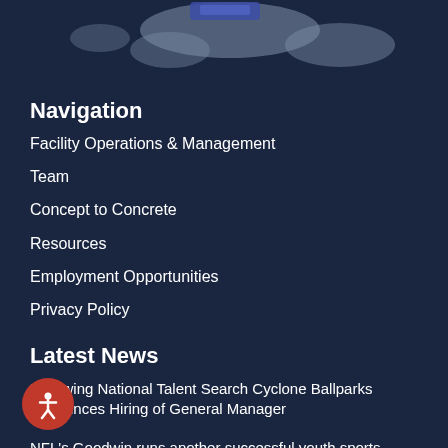[Figure (map): Partial map graphic visible at top of page, showing a stylized map with dark blue background and gray landmass silhouettes, with a small blue/purple label element visible at top center.]
Navigation
Facility Operations & Management
Team
Concept to Concrete
Resources
Employment Opportunities
Privacy Policy
Latest News
Following National Talent Search Cyclone Ballparks Announces Hiring of General Manager
NFL's Goodwin runs another successful youth sports camp at Highlands Sports Complex
City of Bryan, TX Breaks Ground on $41 Million Indoor Sports & Arts Center, Names Sports Facilities Companies as Operator
Bridge Sports Complex Celebrates Its Grand Opening